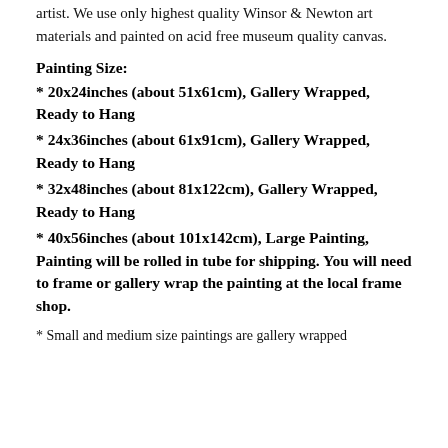artist. We use only highest quality Winsor & Newton art materials and painted on acid free museum quality canvas.
Painting Size:
* 20x24inches (about 51x61cm), Gallery Wrapped, Ready to Hang
* 24x36inches (about 61x91cm), Gallery Wrapped, Ready to Hang
* 32x48inches (about 81x122cm), Gallery Wrapped, Ready to Hang
* 40x56inches (about 101x142cm), Large Painting, Painting will be rolled in tube for shipping. You will need to frame or gallery wrap the painting at the local frame shop.
* Small and medium size paintings are gallery wrapped